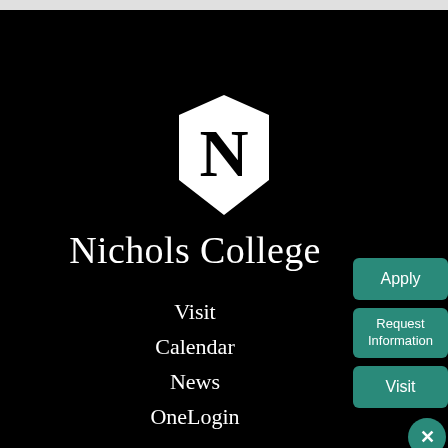[Figure (logo): Nichols College shield logo: white hexagonal shield with large black letter N, on black background]
Nichols College
Apply
Request Information
Visit
Visit
Calendar
News
OneLogin